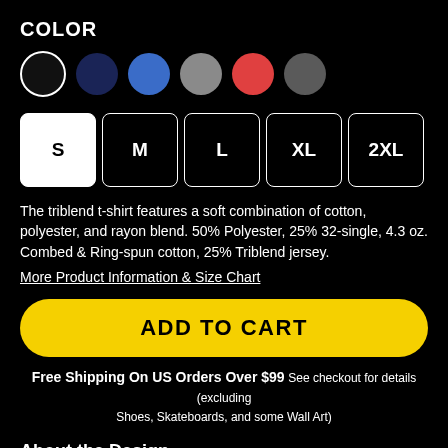COLOR
[Figure (illustration): Six color swatches displayed as circles: black (selected, white border), navy, blue, gray, red, dark gray]
[Figure (illustration): Five size selector buttons: S (selected, white background), M, L, XL, 2XL]
The triblend t-shirt features a soft combination of cotton, polyester, and rayon blend. 50% Polyester, 25% 32-single, 4.3 oz. Combed & Ring-spun cotton, 25% Triblend jersey.
More Product Information & Size Chart
ADD TO CART
Free Shipping On US Orders Over $99 See checkout for details (excluding Shoes, Skateboards, and some Wall Art)
About the Design
Not a fan of your boss and co-workers? Clients getting you down? Just generally mad at the world and want to take a misanthropic